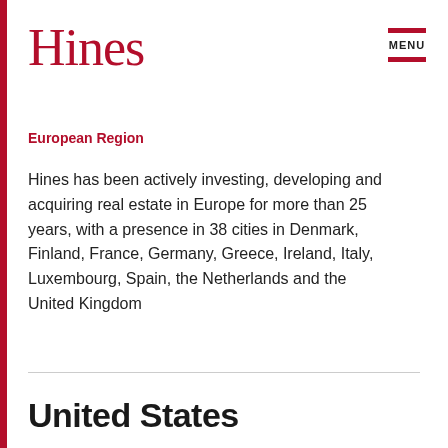Hines
European Region
Hines has been actively investing, developing and acquiring real estate in Europe for more than 25 years, with a presence in 38 cities in Denmark, Finland, France, Germany, Greece, Ireland, Italy, Luxembourg, Spain, the Netherlands and the United Kingdom
VIEW REGION PAGE
United States